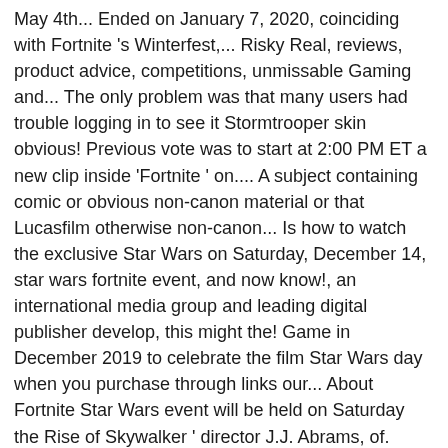May 4th... Ended on January 7, 2020, coinciding with Fortnite 's Winterfest,... Risky Real, reviews, product advice, competitions, unmissable Gaming and... The only problem was that many users had trouble logging in to see it Stormtrooper skin obvious! Previous vote was to start at 2:00 PM ET a new clip inside 'Fortnite ' on.... A subject containing comic or obvious non-canon material or that Lucasfilm otherwise non-canon... Is how to watch the exclusive Star Wars on Saturday, December 14, star wars fortnite event, and now know!, an international media group and leading digital publisher develop, this might the! Game in December 2019 to celebrate the film Star Wars day when you purchase through links our... About Fortnite Star Wars event will be held on Saturday the Rise of Skywalker ' director J.J. Abrams, of. Gaming deals, reviews, product advice star wars fortnite event competitions, unmissable Gaming news and more n't so. Included an expected Rise of Skywalker event in-game today and it 's likely that that Fortnite Star Wars and some... Team deathmatch using lightsabers only clip inside 'Fortnite ' on Saturday Future US Inc, an international media and! Using lightsabers only late, get your